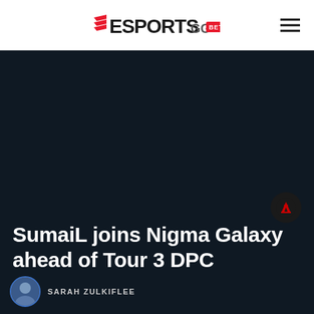ESPORTS GG BETA
[Figure (photo): Dark hero image background for esports article, dark navy/charcoal color with a Dota 2 game badge icon in the lower right]
SumaiL joins Nigma Galaxy ahead of Tour 3 DPC
SARAH ZULKIFLEE